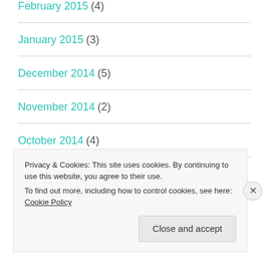February 2015 (4)
January 2015 (3)
December 2014 (5)
November 2014 (2)
October 2014 (4)
Privacy & Cookies: This site uses cookies. By continuing to use this website, you agree to their use.
To find out more, including how to control cookies, see here: Cookie Policy
Close and accept